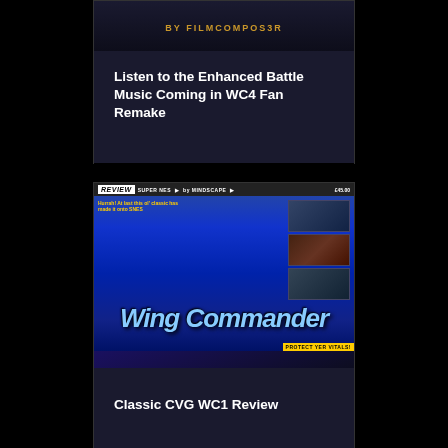[Figure (screenshot): Card with 'BY FILMCOMPOS3R' byline text in golden/amber color on dark background]
Listen to the Enhanced Battle Music Coming in WC4 Fan Remake
[Figure (screenshot): Classic CVG magazine scan showing Wing Commander SNES review page with 'REVIEW SUPER NES by MINDSCAPE £45.00' header, screenshots, and large Wing Commander logo]
Classic CVG WC1 Review